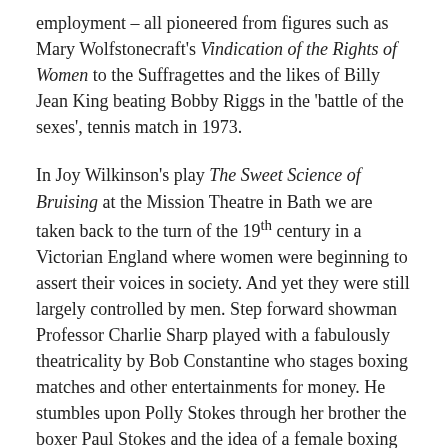employment – all pioneered from figures such as Mary Wolfstonecraft's Vindication of the Rights of Women to the Suffragettes and the likes of Billy Jean King beating Bobby Riggs in the 'battle of the sexes', tennis match in 1973.
In Joy Wilkinson's play The Sweet Science of Bruising at the Mission Theatre in Bath we are taken back to the turn of the 19th century in a Victorian England where women were beginning to assert their voices in society. And yet they were still largely controlled by men. Step forward showman Professor Charlie Sharp played with a fabulously theatricality by Bob Constantine who stages boxing matches and other entertainments for money. He stumbles upon Polly Stokes through her brother the boxer Paul Stokes and the idea of a female boxing contest is born. Tianna James as Polly is superb as the aspiring athlete as she spars, jabs and punches with total commitment. In contrast Callum Marshall as her brother convinces as the nearly man – who is overshadowed by his sibling – straight roles are always harder to pull off and